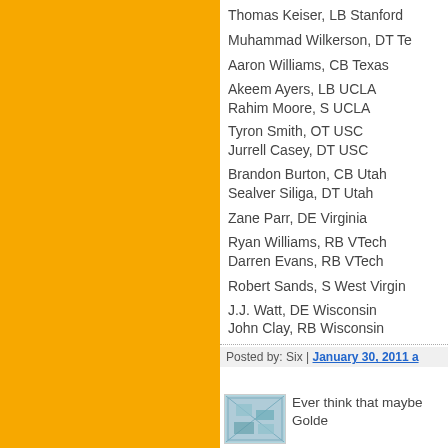[Figure (other): Orange sidebar panel on left side of page]
Thomas Keiser, LB Stanford
Muhammad Wilkerson, DT Te...
Aaron Williams, CB Texas
Akeem Ayers, LB UCLA
Rahim Moore, S UCLA
Tyron Smith, OT USC
Jurrell Casey, DT USC
Brandon Burton, CB Utah
Sealver Siliga, DT Utah
Zane Parr, DE Virginia
Ryan Williams, RB VTech
Darren Evans, RB VTech
Robert Sands, S West Virgin...
J.J. Watt, DE Wisconsin
John Clay, RB Wisconsin
Posted by: Six | January 30, 2011 a...
[Figure (other): Small thumbnail image, blue/teal pattern]
Ever think that maybe Golde...